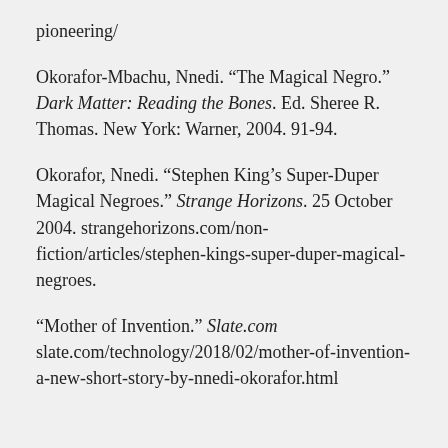pioneering/
Okorafor-Mbachu, Nnedi. “The Magical Negro.” Dark Matter: Reading the Bones. Ed. Sheree R. Thomas. New York: Warner, 2004. 91-94.
Okorafor, Nnedi. “Stephen King’s Super-Duper Magical Negroes.” Strange Horizons. 25 October 2004. strangehorizons.com/non-fiction/articles/stephen-kings-super-duper-magical-negroes.
“Mother of Invention.” Slate.com slate.com/technology/2018/02/mother-of-invention-a-new-short-story-by-nnedi-okorafor.html